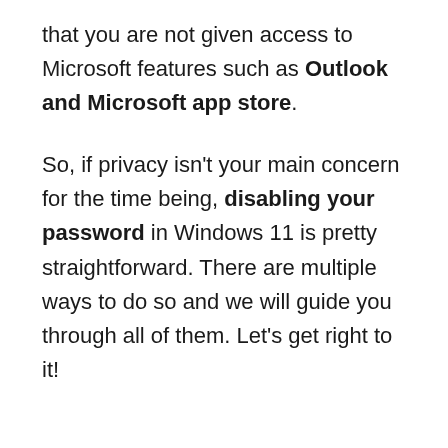that you are not given access to Microsoft features such as Outlook and Microsoft app store.
So, if privacy isn't your main concern for the time being, disabling your password in Windows 11 is pretty straightforward. There are multiple ways to do so and we will guide you through all of them. Let's get right to it!